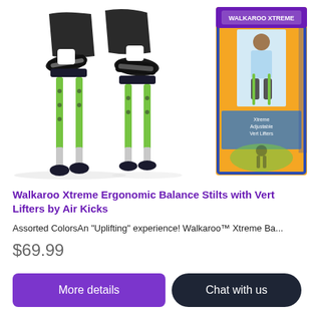[Figure (photo): Product photo showing green Walkaroo Xtreme balance stilts being worn by a child (lower body visible, wearing shorts and sneakers), alongside the product box on the right featuring a child using the stilts on an orange-themed box.]
Walkaroo Xtreme Ergonomic Balance Stilts with Vert Lifters by Air Kicks
Assorted ColorsAn "Uplifting" experience! Walkaroo™ Xtreme Ba...
$69.99
More details
Chat with us